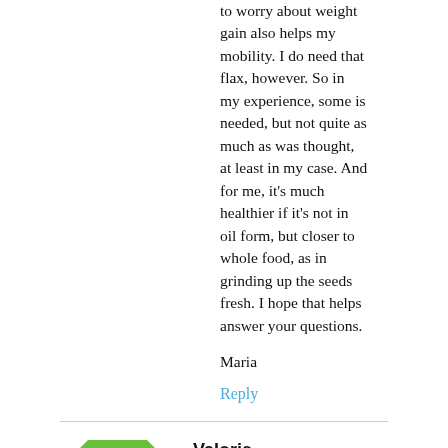to worry about weight gain also helps my mobility. I do need that flax, however. So in my experience, some is needed, but not quite as much as was thought, at least in my case. And for me, it's much healthier if it's not in oil form, but closer to whole food, as in grinding up the seeds fresh. I hope that helps answer your questions.
Maria
Reply
Valorie
November 17, 2012
I just found your awesome response to my questions. Thank you so much for taking the time to respond in such detail, and with such great information! I have been adding a tsp of fresh-ground flax per day, but also including canola or olive oil in my recipes. I'm keeping my sat fat at negligible levels, but I think, especially due to my inability to really exercise the last few years, I've just been ingesting too many good oils. I'll trend